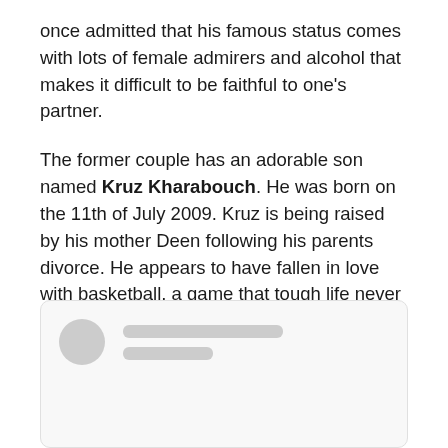once admitted that his famous status comes with lots of female admirers and alcohol that makes it difficult to be faithful to one's partner.
The former couple has an adorable son named Kruz Kharabouch. He was born on the 11th of July 2009. Kruz is being raised by his mother Deen following his parents divorce. He appears to have fallen in love with basketball, a game that tough life never allowed his dad to play.
[Figure (other): Social media post card placeholder with avatar circle and two gray placeholder lines for name and handle/date]